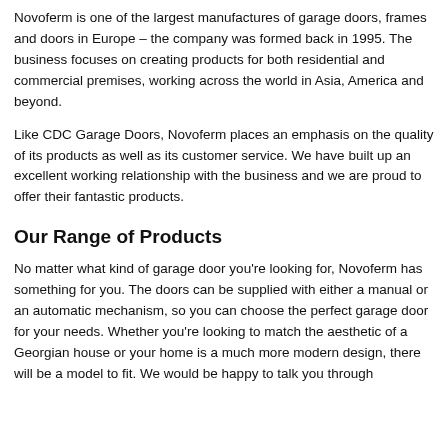Novoferm is one of the largest manufactures of garage doors, frames and doors in Europe – the company was formed back in 1995. The business focuses on creating products for both residential and commercial premises, working across the world in Asia, America and beyond.
Like CDC Garage Doors, Novoferm places an emphasis on the quality of its products as well as its customer service. We have built up an excellent working relationship with the business and we are proud to offer their fantastic products.
Our Range of Products
No matter what kind of garage door you're looking for, Novoferm has something for you. The doors can be supplied with either a manual or an automatic mechanism, so you can choose the perfect garage door for your needs. Whether you're looking to match the aesthetic of a Georgian house or your home is a much more modern design, there will be a model to fit. We would be happy to talk you through